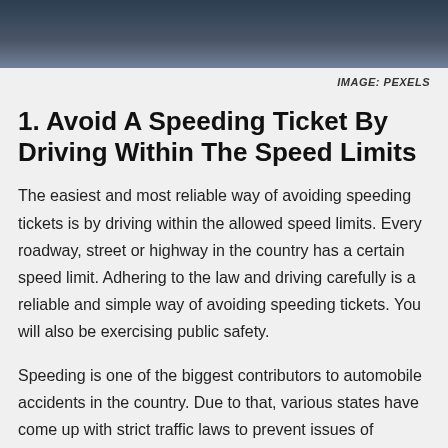[Figure (photo): Dark blue/grey banner image at top of page, likely a road or driving scene]
IMAGE: PEXELS
1. Avoid A Speeding Ticket By Driving Within The Speed Limits
The easiest and most reliable way of avoiding speeding tickets is by driving within the allowed speed limits. Every roadway, street or highway in the country has a certain speed limit. Adhering to the law and driving carefully is a reliable and simple way of avoiding speeding tickets. You will also be exercising public safety.
Speeding is one of the biggest contributors to automobile accidents in the country. Due to that, various states have come up with strict traffic laws to prevent issues of